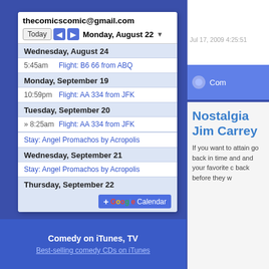[Figure (screenshot): Google Calendar widget showing thecomicscomic@gmail.com with upcoming flights and hotel stays]
Comedy on iTunes, TV
Best-selling comedy CDs on iTunes
Jul 17, 2009 4:25:51
Com
Nostalgia 
Jim Carrey
If you want to attain go back in time and and your favorite c back before they w